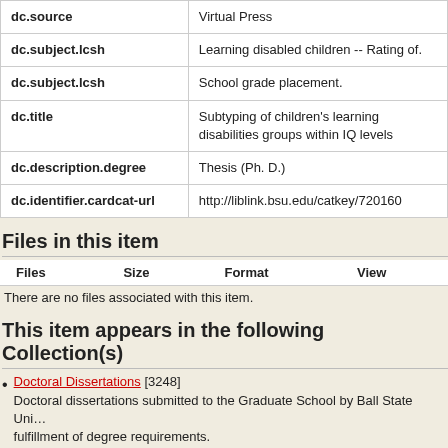| Field | Value |
| --- | --- |
| dc.source | Virtual Press |
| dc.subject.lcsh | Learning disabled children -- Rating of. |
| dc.subject.lcsh | School grade placement. |
| dc.title | Subtyping of children's learning disabilities groups within IQ levels |
| dc.description.degree | Thesis (Ph. D.) |
| dc.identifier.cardcat-url | http://liblink.bsu.edu/catkey/720160 |
Files in this item
| Files | Size | Format | View |
| --- | --- | --- | --- |
There are no files associated with this item.
This item appears in the following Collection(s)
Doctoral Dissertations [3248]
Doctoral dissertations submitted to the Graduate School by Ball State Un... fulfillment of degree requirements.
Show simple item record